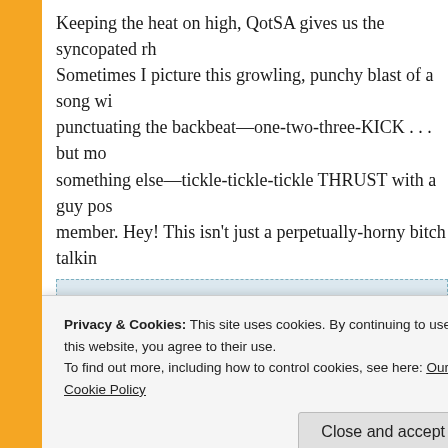Keeping the heat on high, QotSA gives us the syncopated rh... Sometimes I picture this growling, punchy blast of a song wi... punctuating the backbeat—one-two-three-KICK . . . but mo... something else—tickle-tickle-tickle THRUST with a guy pos... member. Hey! This isn't just a perpetually-horny bitch talkin...
You and me
Fit so tight
I go lower and lower and lower lower livin easy
I don't know, I don't know what I got till it's over
You and me
Fit so tight
Can you do it again
Do it again
Privacy & Cookies: This site uses cookies. By continuing to use this website, you agree to their use.
To find out more, including how to control cookies, see here: Our Cookie Policy
Close and accept